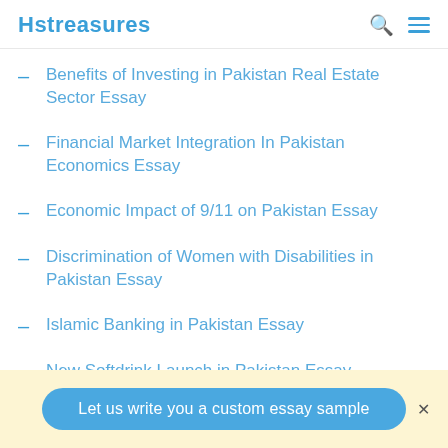Hstreasures
Benefits of Investing in Pakistan Real Estate Sector Essay
Financial Market Integration In Pakistan Economics Essay
Economic Impact of 9/11 on Pakistan Essay
Discrimination of Women with Disabilities in Pakistan Essay
Islamic Banking in Pakistan Essay
New Softdrink Launch in Pakistan Essay
Let us write you a custom essay sample